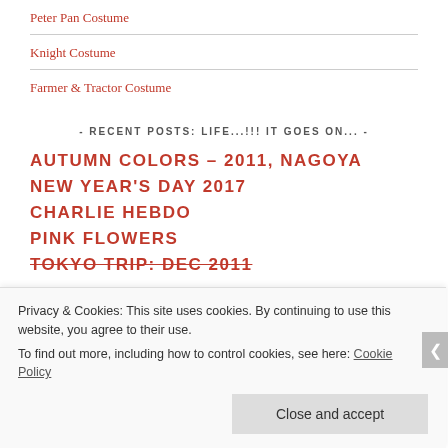Peter Pan Costume
Knight Costume
Farmer & Tractor Costume
- RECENT POSTS: LIFE...!!! IT GOES ON... -
AUTUMN COLORS – 2011, NAGOYA
NEW YEAR'S DAY 2017
CHARLIE HEBDO
PINK FLOWERS
TOKYO TRIP: DEC 2011
Privacy & Cookies: This site uses cookies. By continuing to use this website, you agree to their use.
To find out more, including how to control cookies, see here: Cookie Policy
Close and accept